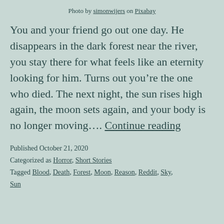Photo by simonwijers on Pixabay
You and your friend go out one day. He disappears in the dark forest near the river, you stay there for what feels like an eternity looking for him. Turns out you’re the one who died. The next night, the sun rises high again, the moon sets again, and your body is no longer moving…. Continue reading
Published October 21, 2020
Categorized as Horror, Short Stories
Tagged Blood, Death, Forest, Moon, Reason, Reddit, Sky, Sun